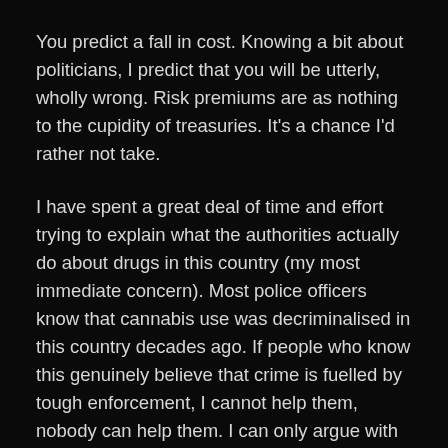You predict a fall in cost. Knowing a bit about politicians, I predict that you will be utterly, wholly wrong. Risk premiums are as nothing to the cupidity of treasuries. It's a chance I'd rather not take.
I have spent a great deal of time and effort trying to explain what the authorities actually do about drugs in this country (my most immediate concern). Most police officers know that cannabis use was decriminalised in this country decades ago. If people who know this genuinely believe that crime is fuelled by tough enforcement, I cannot help them, nobody can help them. I can only argue with people who at least attempt to inform themselves in the subject about which they opine. I think my book was excoriated and abused mainly because the wide dissemination of the simple fact – that decriminalisation has already happened here and the ills